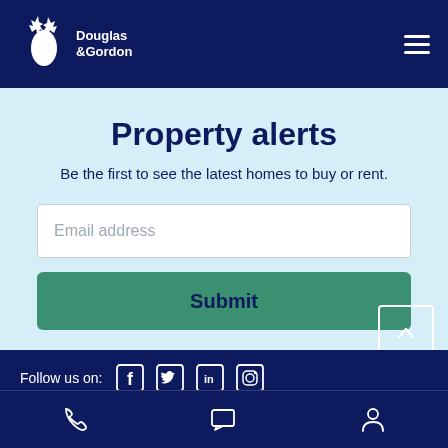[Figure (logo): Douglas & Gordon logo with deer silhouette on dark navy header]
Property alerts
Be the first to see the latest homes to buy or rent.
Email address (input field)
Submit
Follow us on:
Log in    Create account
[Figure (infographic): Bottom navigation bar with phone, chat, and person icons]